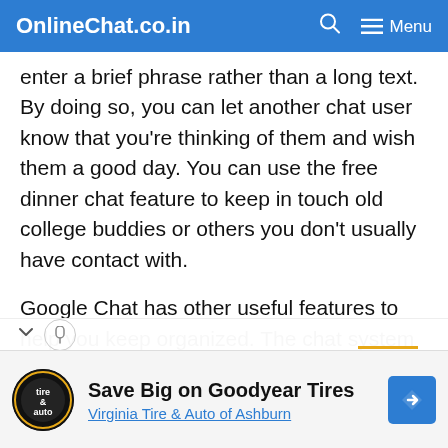OnlineChat.co.in  Menu
enter a brief phrase rather than a long text. By doing so, you can let another chat user know that you're thinking of them and wish them a good day. You can use the free dinner chat feature to keep in touch old college buddies or others you don't usually have contact with.
Google Chat has other useful features to help you keep organized. The chat system offers a notification center, which displays various chat actions in a large format. You can easily keep track of your conversations and recent messages. Additionally, you will be notified
[Figure (infographic): Advertisement banner: Save Big on Goodyear Tires - Virginia Tire & Auto of Ashburn, with tire/auto logo and blue navigation arrow icon]